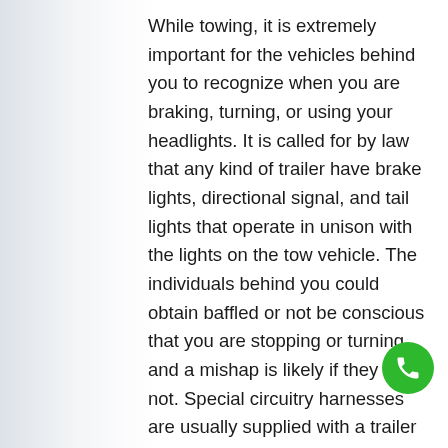While towing, it is extremely important for the vehicles behind you to recognize when you are braking, turning, or using your headlights. It is called for by law that any kind of trailer have brake lights, directional signal, and tail lights that operate in unison with the lights on the tow vehicle. The individuals behind you could obtain baffled or not be conscious that you are stopping or turning and a mishap is likely if they do not. Special circuitry harnesses are usually supplied with a trailer that ought to hook right into the wiring of the tow vehicle. If your trailer does not have such an electrical wiring harness, they could be purchased individually at most car components shops.

You additionally never wish to be towing
[Figure (other): Green circular phone/call button icon in the bottom-right corner]